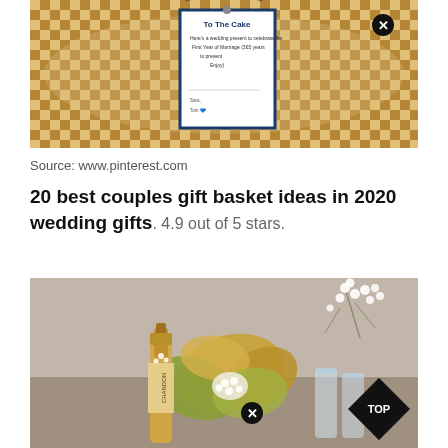[Figure (photo): Photo of a woven basket with a gift card tag attached, showing handwritten text on a white card with blue border]
Source: www.pinterest.com
20 best couples gift basket ideas in 2020 wedding gifts. 4.9 out of 5 stars.
[Figure (photo): Photo of an autumn-themed gift arrangement on a grey sofa with a champagne bottle (CHANDON), autumn leaves, white berry branches, and glass tumblers, with a TOP badge in the bottom right corner]